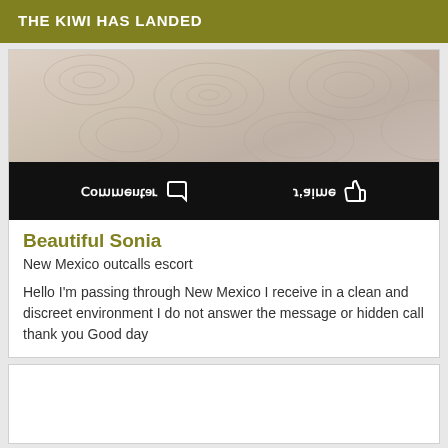THE KIWI HAS LANDED
[Figure (photo): Close-up photo of skin with fingerprint-like circular patterns, with a black bar below showing mirrored Facebook-style action buttons: 'Commenter' and 'J'aime' with icons]
Beautiful Sonia
New Mexico outcalls escort
Hello I'm passing through New Mexico I receive in a clean and discreet environment I do not answer the message or hidden call thank you Good day